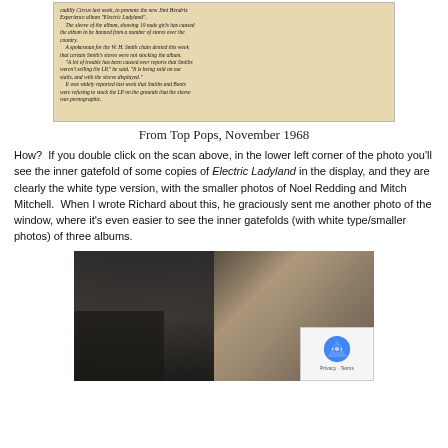[Figure (photo): Scanned newspaper clipping with italic text discussing the Jimi Hendrix Experience album Electric Ladyland, its sleeve controversy, and statements from W.H. Smith chain spokesman.]
From Top Pops, November 1968
How?  If you double click on the scan above, in the lower left corner of the photo you'll see the inner gatefold of some copies of Electric Ladyland in the display, and they are clearly the white type version, with the smaller photos of Noel Redding and Mitch Mitchell.  When I wrote Richard about this, he graciously sent me another photo of the window, where it's even easier to see the inner gatefolds (with white type/smaller photos) of three albums.
[Figure (photo): Black and white photograph showing a shop window display with album covers including Electric Ladyland gatefolds visible, with a reCAPTCHA overlay in the lower right corner.]